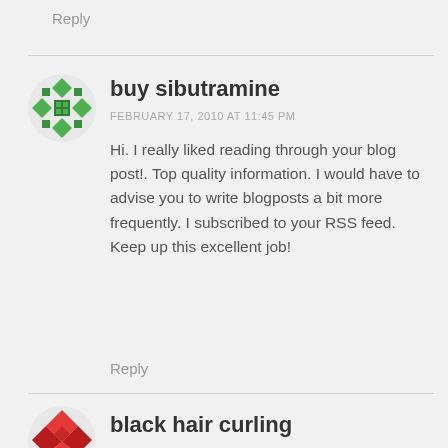Reply
[Figure (illustration): Green geometric/diamond pattern avatar icon for user 'buy sibutramine']
buy sibutramine
FEBRUARY 17, 2010 AT 11:45 PM
Hi. I really liked reading through your blog post!. Top quality information. I would have to advise you to write blogposts a bit more frequently. I subscribed to your RSS feed. Keep up this excellent job!
Reply
[Figure (illustration): Red/orange geometric avatar icon for user 'black hair curling']
black hair curling